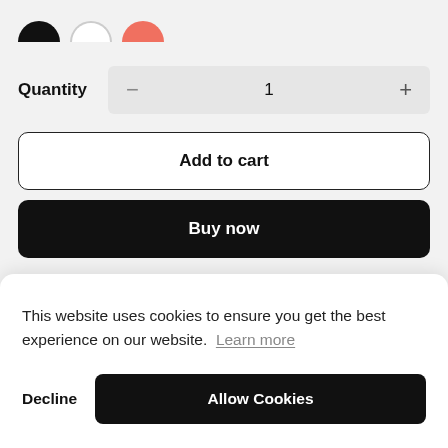[Figure (illustration): Three partial color swatches (circles cropped at top): black, white, and coral/red]
Quantity   −   1   +
Add to cart
Buy now
This website uses cookies to ensure you get the best experience on our website. Learn more
Decline
Allow Cookies